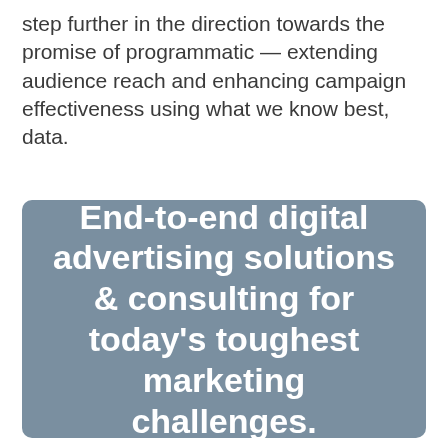step further in the direction towards the promise of programmatic — extending audience reach and enhancing campaign effectiveness using what we know best, data.
End-to-end digital advertising solutions & consulting for today's toughest marketing challenges.